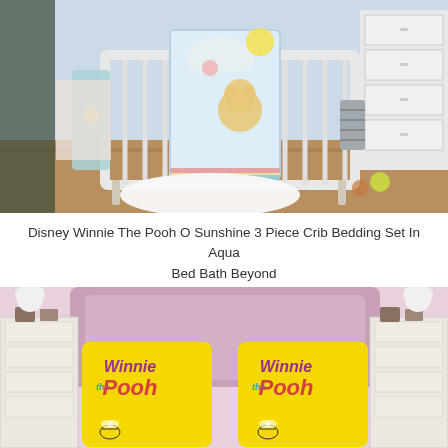[Figure (photo): A nursery room with a white crib featuring a Winnie the Pooh 'O Sunshine' 3 piece crib bedding set in aqua. The quilt shows Winnie the Pooh and Piglet characters on clouds with a sun. There is a light blue blanket hanging on the side of the crib, a white fluffy rug on the wooden floor, a dresser visible on the right, and some toys in the background.]
Disney Winnie The Pooh O Sunshine 3 Piece Crib Bedding Set In Aqua Bed Bath Beyond
[Figure (photo): A bedroom scene with two yellow Winnie the Pooh pillowcases on a bed with a pink/mauve headboard. Each pillowcase displays 'Winnie the Pooh' text in purple, blue, and red lettering with bee graphics on a bright yellow background. White bear plush toys and white nightstands are on each side.]